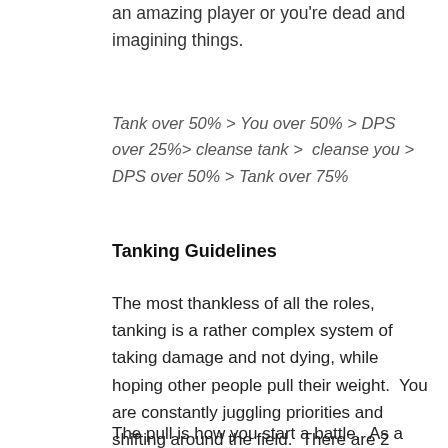an amazing player or you're dead and imagining things.
Tank over 50% > You over 50% > DPS over 25%> cleanse tank >  cleanse you > DPS over 50% > Tank over 75%
Tanking Guidelines
The most thankless of all the roles, tanking is a rather complex system of taking damage and not dying, while hoping other people pull their weight.  You are constantly juggling priorities and shifting around the field.  There are 2 main phases to tanking – the pull and the play.
The pull is how you start a battle.  As a general rule, you want to get all the enemies bunched